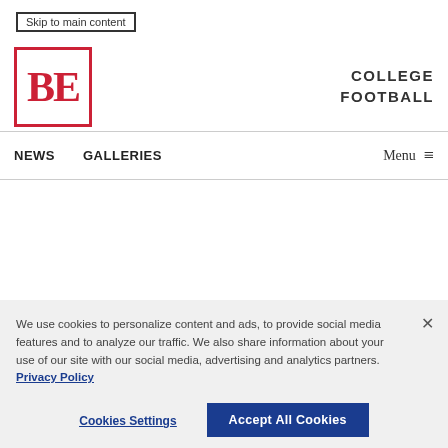Skip to main content
[Figure (logo): BE logo — red bordered box with bold red serif BE letters]
COLLEGE FOOTBALL
NEWS   GALLERIES   Menu ≡
We use cookies to personalize content and ads, to provide social media features and to analyze our traffic. We also share information about your use of our site with our social media, advertising and analytics partners. Privacy Policy
Cookies Settings   Accept All Cookies